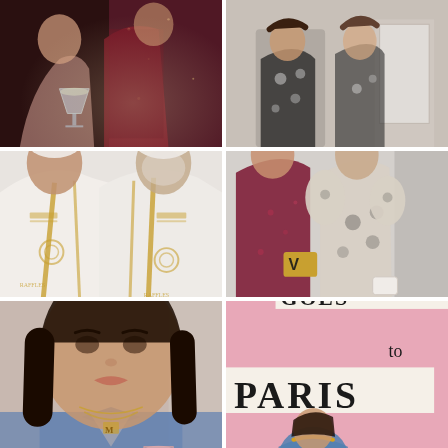[Figure (photo): Two women at a party or social event, one holding a martini glass, dark sparkly background suggesting evening event or lounge setting]
[Figure (photo): Two women posing in a hallway, both wearing patterned dresses — one in black and white floral print mini dress, the other in a darker floral/patterned outfit]
[Figure (photo): Two women wearing matching white hotel spa robes with gold Greek key trim and circular logo, hair wrapped in white towels]
[Figure (photo): Two women posing together in party attire — one wearing a dark red/burgundy sequin mini dress holding a yellow Valentino bag, the other wearing a black and white floral off-shoulder puff-sleeve mini dress with white bag]
[Figure (photo): Close-up of a woman holding a pink/rose cocktail, wearing a blue gingham top with bow tie, gold layered necklaces including a gold letter M pendant]
[Figure (photo): Woman posing in front of a pink Vogue Goes to Paris backdrop/photo wall, wearing a blue off-shoulder top with yellow details, holding a wicker/straw bag]